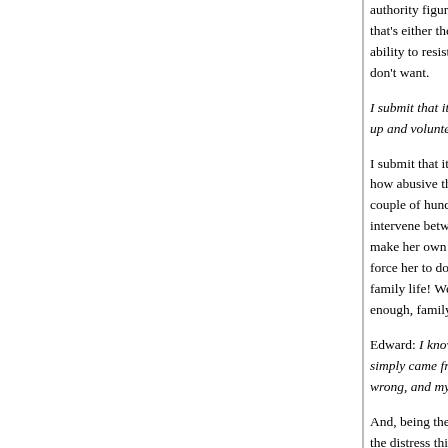authority figure in their life to make all important decisions — that's either their parents or the state, but that teenagers' ability to resist an authority figure who is making them do things they don't want.
I submit that it's much easier to opine that the state should step up and volunteer to take on the parenting job for t…
I submit that it's much easier to say "Leave the kids alone no matter how abusive the parents" than it is to say "We can…" A couple of hundred years ago it would have been obvious not to intervene between husband and wife: obviously a woman can't make her own life decisions, and obviously her husband can't force her to do things against her will, because obviously, family life! Well, we think differently now - at least enough, family life did not end: it only changed.
Edward: I know they love me, that was never even in doubt… simply came from a POV in which there was no d… wrong, and my being gay was incredibly hard for…
And, being the nice person you are, I get the feeling… the distress this caused them than for the distress… know: maybe you're not. But I know that initially t… my fault. (Certainly it was my parents' reaction.) B…